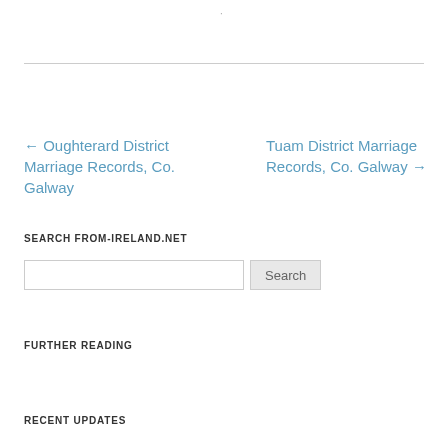·
← Oughterard District Marriage Records, Co. Galway
Tuam District Marriage Records, Co. Galway →
SEARCH FROM-IRELAND.NET
FURTHER READING
RECENT UPDATES